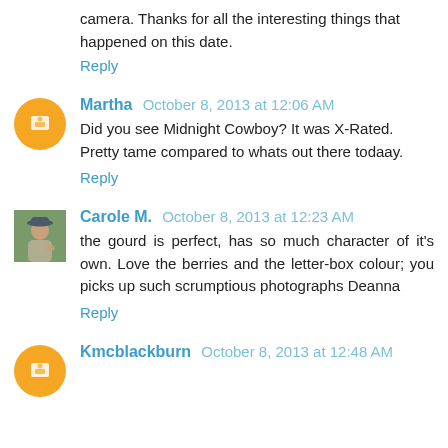camera. Thanks for all the interesting things that happened on this date.
Reply
Martha  October 8, 2013 at 12:06 AM
Did you see Midnight Cowboy? It was X-Rated. Pretty tame compared to whats out there todaay.
Reply
Carole M.  October 8, 2013 at 12:23 AM
the gourd is perfect, has so much character of it's own. Love the berries and the letter-box colour; you picks up such scrumptious photographs Deanna
Reply
Kmcblackburn  October 8, 2013 at 12:48 AM